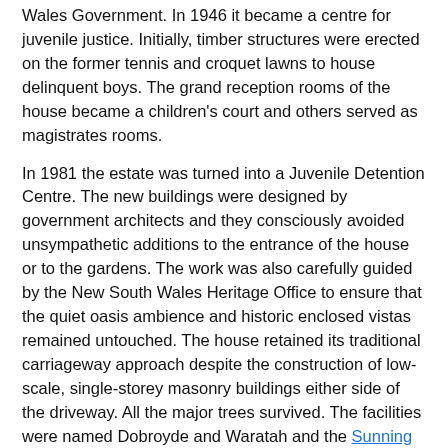Wales Government. In 1946 it became a centre for juvenile justice. Initially, timber structures were erected on the former tennis and croquet lawns to house delinquent boys. The grand reception rooms of the house became a children's court and others served as magistrates rooms.
In 1981 the estate was turned into a Juvenile Detention Centre. The new buildings were designed by government architects and they consciously avoided unsympathetic additions to the entrance of the house or to the gardens. The work was also carefully guided by the New South Wales Heritage Office to ensure that the quiet oasis ambience and historic enclosed vistas remained untouched. The house retained its traditional carriageway approach despite the construction of low-scale, single-storey masonry buildings either side of the driveway. All the major trees survived. The facilities were named Dobroyde and Waratah and the Sunning Hill Education and Training Unit opened for its inmates. A drawing of Yasmar House was used as its logo, and indeed continues to be the logo at the new site at Juniperina Juvenile Justice Centre. In 1984 the east wing was nominated for a Royal Australian Institute of Architects Award for its innovative concept and sensitive management